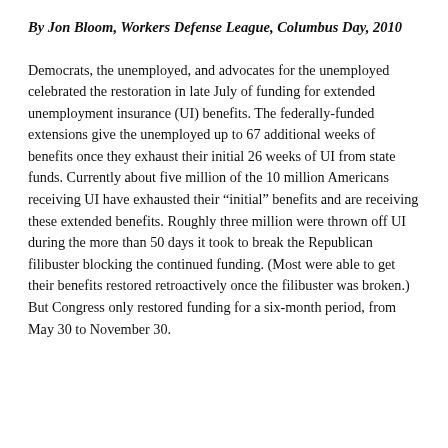By Jon Bloom, Workers Defense League, Columbus Day, 2010
Democrats, the unemployed, and advocates for the unemployed celebrated the restoration in late July of funding for extended unemployment insurance (UI) benefits.  The federally-funded extensions give the unemployed up to 67 additional weeks of benefits once they exhaust their initial 26 weeks of UI from state funds.  Currently about five million of the 10 million Americans receiving UI have exhausted their “initial” benefits and are receiving these extended benefits.  Roughly three million were thrown off UI during the more than 50 days it took to break the Republican filibuster blocking the continued funding.  (Most were able to get their benefits restored retroactively once the filibuster was broken.)  But Congress only restored funding for a six-month period, from May 30 to November 30.